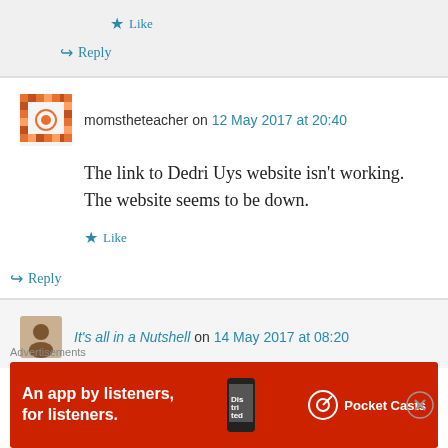★ Like
↪ Reply
momstheteacher on 12 May 2017 at 20:40
The link to Dedri Uys website isn't working. The website seems to be down.
★ Like
↪ Reply
It's all in a Nutshell on 14 May 2017 at 08:20
Advertisements
[Figure (infographic): Red Pocket Casts advertisement banner: 'An app by listeners, for listeners.' with phone image and Pocket Casts logo]